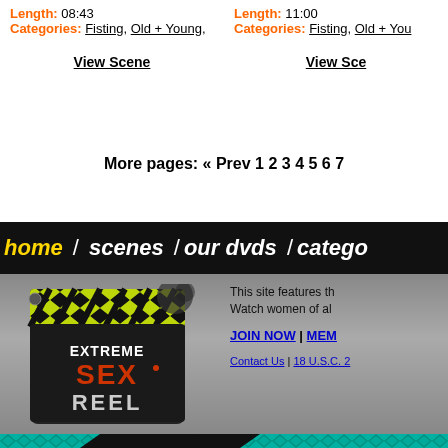Length: 08:43
Categories: Fisting, Old + Young,
View Scene
Length: 11:00
Categories: Fisting, Old + You
View Sce
More pages: « Prev 1 2 3 4 5 6 7
home / scenes / our dvds / catego
[Figure (logo): Extreme Sex Reel logo on a film clapper board with yellow/green diamond pattern and orange grunge text]
This site features th
Watch women of al
JOIN NOW | MEMB
Contact Us | 18 U.S.C. 2